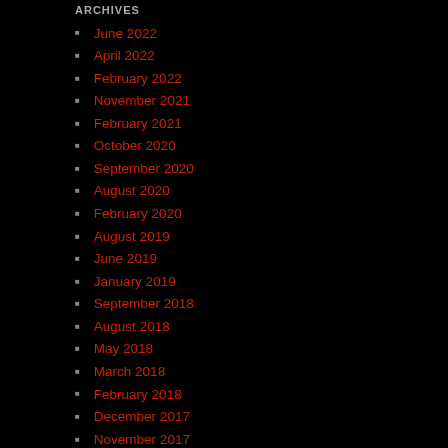ARCHIVES
June 2022
April 2022
February 2022
November 2021
February 2021
October 2020
September 2020
August 2020
February 2020
August 2019
June 2019
January 2019
September 2018
August 2018
May 2018
March 2018
February 2018
December 2017
November 2017
October 2017
September 2017
August 2017
July 2017